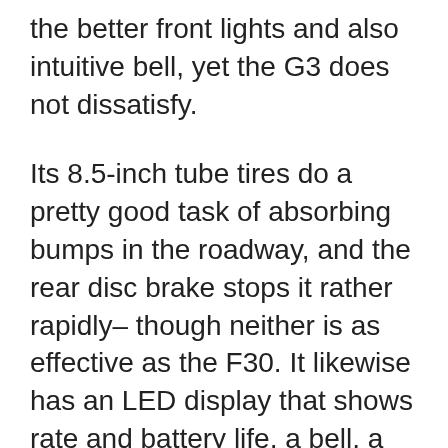the better front lights and also intuitive bell, yet the G3 does not dissatisfy.
Its 8.5-inch tube tires do a pretty good task of absorbing bumps in the roadway, and the rear disc brake stops it rather rapidly– though neither is as effective as the F30. It likewise has an LED display that shows rate and battery life, a bell, a front light, a brake light, as well as cruise control, plus it's not much larger at 36 extra pounds and also folds up fast.
The G3 likewise has a couple of anti-theft mechanisms. When you turn it on, you'll need to get in a code to open the display screen and utilize the mobility scooter. There's also a steel cable affixed at the end of the stem that you can